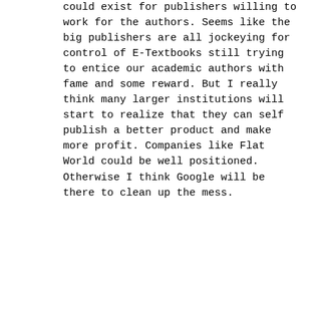could exist for publishers willing to work for the authors. Seems like the big publishers are all jockeying for control of E-Textbooks still trying to entice our academic authors with fame and some reward. But I really think many larger institutions will start to realize that they can self publish a better product and make more profit. Companies like Flat World could be well positioned. Otherwise I think Google will be there to clean up the mess.
Loading...
Reply
[Figure (photo): Circular avatar photo of Jim Yates, an older man with glasses, smiling]
Jim Yates
25 FEB 2010 AT 9:55 PM
Can you expand a bit on "…Otherwise I think Google will be there to clean up the mess."? I